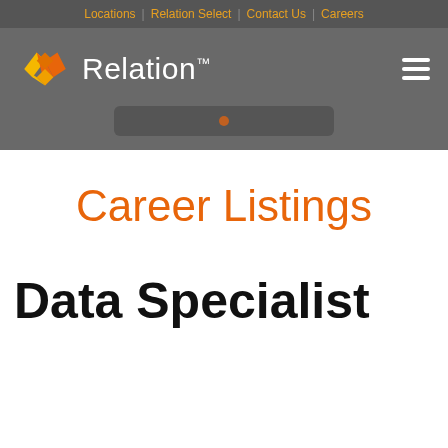Locations | Relation Select | Contact Us | Careers
[Figure (logo): Relation Insurance logo with orange diamond chevron icon and white 'Relation' wordmark on gray background, with hamburger menu icon on right]
Career Listings
Data Specialist